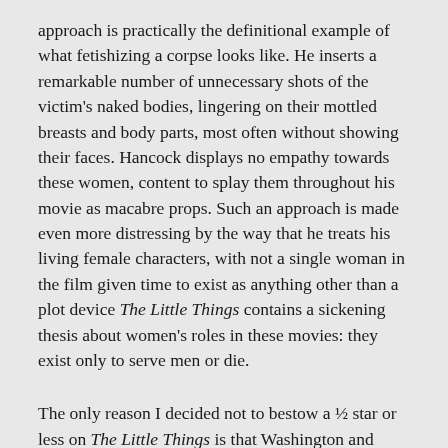approach is practically the definitional example of what fetishizing a corpse looks like. He inserts a remarkable number of unnecessary shots of the victim's naked bodies, lingering on their mottled breasts and body parts, most often without showing their faces. Hancock displays no empathy towards these women, content to splay them throughout his movie as macabre props. Such an approach is made even more distressing by the way that he treats his living female characters, with not a single woman in the film given time to exist as anything other than a plot device The Little Things contains a sickening thesis about women's roles in these movies: they exist only to serve men or die.
The only reason I decided not to bestow a ½ star or less on The Little Things is that Washington and Leto somehow deliver performances worth watching. Before you ask, yes, I've left Malek off of this list because I found him simply boring. Not the last word, but…more on that…